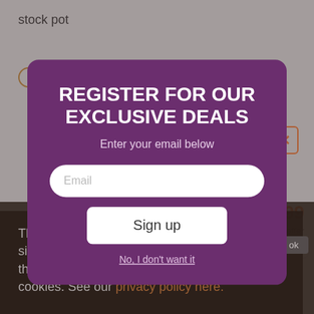stock pot
WALMART
PRICE ALERT
$39.99
1 offer
ADD TO COMPARE
[Figure (screenshot): Modal popup on a shopping website with dark purple background. Title reads 'REGISTER FOR OUR EXCLUSIVE DEALS'. Contains email input field and Sign up button.]
REGISTER FOR OUR EXCLUSIVE DEALS
Enter your email below
Email
Sign up
No, I don't want it
This site uses cookies to enhance your web site experience. By continuing to browse or use this site, you are agreeing to our use of cookies. See our privacy policy here.